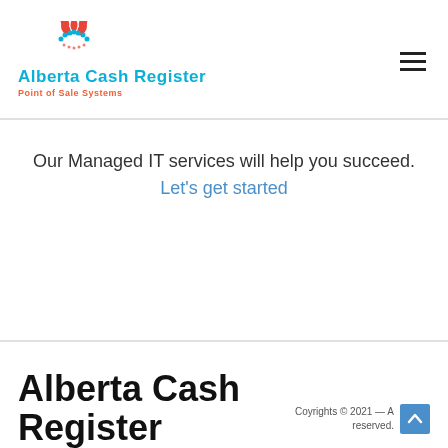[Figure (logo): Alberta Cash Register logo with decorative icon above and 'Point of Sale Systems' subtitle in orange]
Our Managed IT services will help you succeed. Let's get started
Alberta Cash Register
Coyrights © 2021 — A reserved.